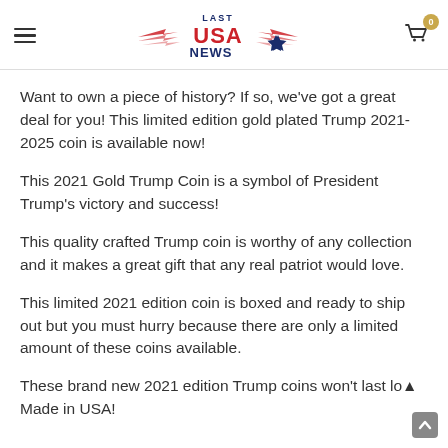Last USA News
Want to own a piece of history? If so, we've got a great deal for you! This limited edition gold plated Trump 2021-2025 coin is available now!
This 2021 Gold Trump Coin is a symbol of President Trump's victory and success!
This quality crafted Trump coin is worthy of any collection and it makes a great gift that any real patriot would love.
This limited 2021 edition coin is boxed and ready to ship out but you must hurry because there are only a limited amount of these coins available.
These brand new 2021 edition Trump coins won't last lo… Made in USA!